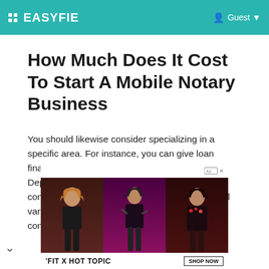:: EASYFIE    Guest
How Much Does It Cost To Start A Mobile Notary Business
You should likewise consider specializing in a specific area. For instance, you can give loan finalizings as well as power of attorney records. Depending on just click the following post and consumer base, you can additionally supply a full variety of solutions and also draw in a more comprehensive customer base. You can also
[Figure (photo): Advertisement banner at the bottom showing three people in dark clothing with text 'FIT X HOT TOPIC' and 'SHOP NOW' button]